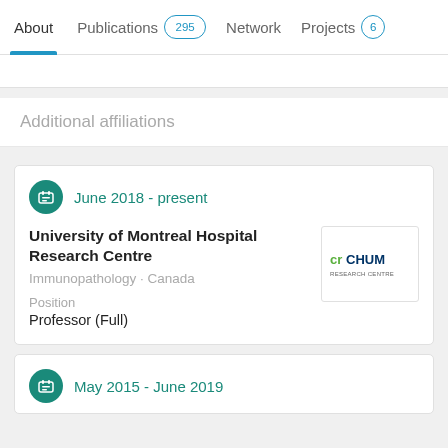About   Publications 295   Network   Projects 6
Additional affiliations
June 2018 - present
University of Montreal Hospital Research Centre
Immunopathology · Canada
Position
Professor (Full)
May 2015 - June 2019